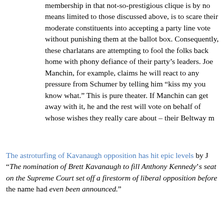membership in that not-so-prestigious clique is by no means limited to those discussed above, is to scare their moderate constituents into accepting a party line vote without punishing them at the ballot box. Consequently, these charlatans are attempting to fool the folks back home with phony defiance of their party’s leaders. Joe Manchin, for example, claims he will react to any pressure from Schumer by telling him “kiss my you know what.” This is pure theater. If Manchin can get away with it, he and the rest will vote on behalf of whose wishes they really care about – their Beltway m...
The astroturfing of Kavanaugh opposition has hit epic levels by J... “The nomination of Brett Kavanaugh to fill Anthony Kennedy’s seat on the Supreme Court set off a firestorm of liberal opposition before the name had even been announced.”
“Democrats are already busy fundraising off the nomination and encouraging their supporters to get out there and oppose Kavanaugh’s confirmation with all their might. This has resulted in the progressive rank and file breaking out the pre-made letter to the editor forms...